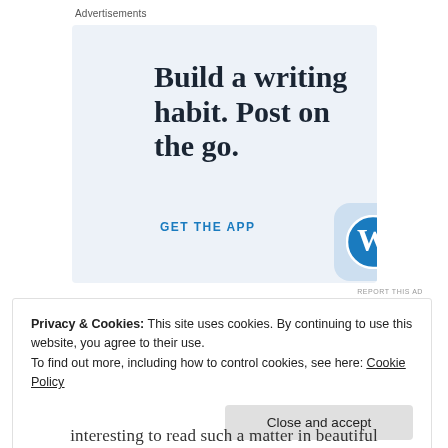Advertisements
[Figure (illustration): WordPress app advertisement with text 'Build a writing habit. Post on the go.' and 'GET THE APP' CTA with WordPress logo]
REPORT THIS AD
Privacy & Cookies: This site uses cookies. By continuing to use this website, you agree to their use.
To find out more, including how to control cookies, see here: Cookie Policy
Close and accept
interesting to read such a matter in beautiful